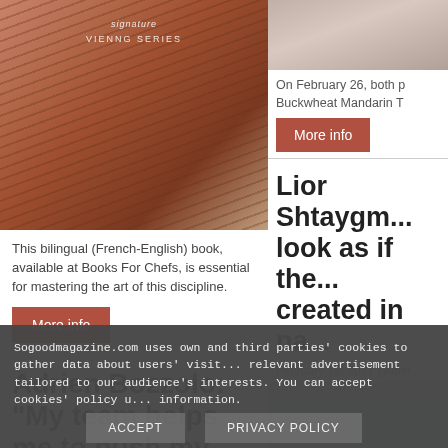[Figure (photo): Book cover showing pastry/churros style baked goods with text 'signature VIENNG SERIES']
This bilingual (French-English) book, available at Books For Chefs, is essential for mastering the art of this discipline.
More info
Adrien Bozzolo: “My team helps me to push my own limits every
[Figure (photo): Partial photo, top right, likely a person or food item]
On February 26, both p... Buckwheat Mandarin T...
More info
Lior Shtaygm... look as if the... created in na...
February 18, 2021 | Alber...
[Figure (photo): Blurred outdoor photo, light blue/grey tones]
Sogoodmagazine.com uses own and third parties' cookies to gather data about users' visit... relevant advertisement tailored to our audience's interests. You can accept cookies' policy u... information.
ACCEPT
PRIVACY POLICY